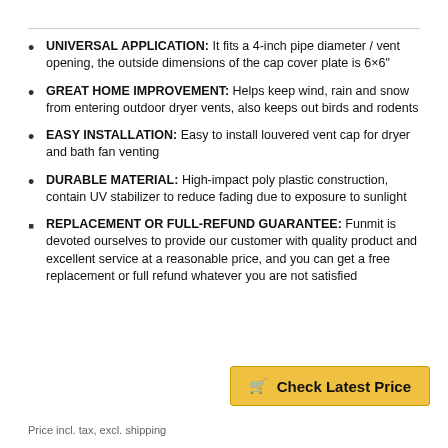UNIVERSAL APPLICATION: It fits a 4-inch pipe diameter / vent opening, the outside dimensions of the cap cover plate is 6×6"
GREAT HOME IMPROVEMENT: Helps keep wind, rain and snow from entering outdoor dryer vents, also keeps out birds and rodents
EASY INSTALLATION: Easy to install louvered vent cap for dryer and bath fan venting
DURABLE MATERIAL: High-impact poly plastic construction, contain UV stabilizer to reduce fading due to exposure to sunlight
REPLACEMENT OR FULL-REFUND GUARANTEE: Funmit is devoted ourselves to provide our customer with quality product and excellent service at a reasonable price, and you can get a free replacement or full refund whatever you are not satisfied
Check Latest Price
Price incl. tax, excl. shipping